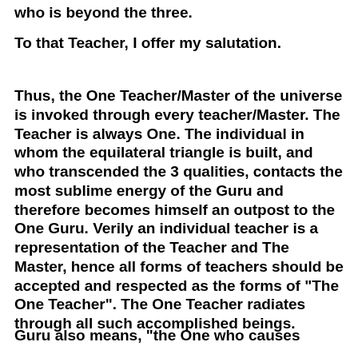who is beyond the three.
To that Teacher, I offer my salutation.
Thus, the One Teacher/Master of the universe is invoked through every teacher/Master. The Teacher is always One. The individual in whom the equilateral triangle is built, and who transcended the 3 qualities, contacts the most sublime energy of the Guru and therefore becomes himself an outpost to the One Guru. Verily an individual teacher is a representation of the Teacher and The Master, hence all forms of teachers should be accepted and respected as the forms of "The One Teacher". The One Teacher radiates through all such accomplished beings.
Guru also means, "the One who causes